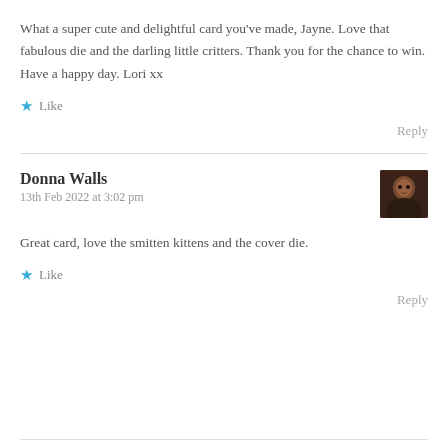What a super cute and delightful card you've made, Jayne. Love that fabulous die and the darling little critters. Thank you for the chance to win. Have a happy day. Lori xx
★ Like
Reply
Donna Walls
13th Feb 2022 at 3:02 pm
Great card, love the smitten kittens and the cover die.
★ Like
Reply